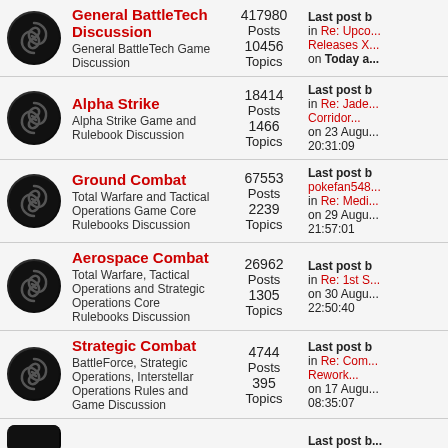| Icon | Forum | Stats | Last Post |
| --- | --- | --- | --- |
| [icon] | General BattleTech Discussion
General BattleTech Game Discussion | 417980 Posts
10456 Topics | Last post b...
in Re: Upco... Releases X...
on Today a... |
| [icon] | Alpha Strike
Alpha Strike Game and Rulebook Discussion | 18414 Posts
1466 Topics | Last post b...
in Re: Jade... Corridor...
on 23 Augu... 20:31:09 |
| [icon] | Ground Combat
Total Warfare and Tactical Operations Game Core Rulebooks Discussion | 67553 Posts
2239 Topics | Last post b...
pokefan548...
in Re: Medi...
on 29 Augu... 21:57:01 |
| [icon] | Aerospace Combat
Total Warfare, Tactical Operations and Strategic Operations Core Rulebooks Discussion | 26962 Posts
1305 Topics | Last post b...
in Re: 1st S...
on 30 Augu... 22:50:40 |
| [icon] | Strategic Combat
BattleForce, Strategic Operations, Interstellar Operations Rules and Game Discussion | 4744 Posts
395 Topics | Last post b...
in Re: Com... Rework...
on 17 Augu... 08:35:07 |
| [icon] | (partial row) |  | Last post b... |